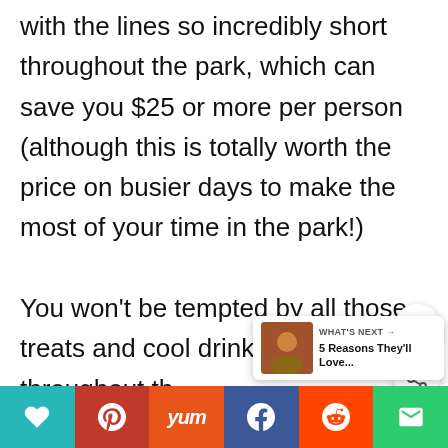with the lines so incredibly short throughout the park, which can save you $25 or more per person (although this is totally worth the price on busier days to make the most of your time in the park!) You won't be tempted by all those treats and cool drinks sprinkled throughout the park. When you visit on a hot summer day you're going to be eyeing e...
[Figure (other): WHAT'S NEXT arrow with thumbnail and text '5 Reasons They'll Love...' overlay widget]
[Figure (other): Social share bar with heart, Pinterest, Yummly, Facebook, Reddit, and email buttons]